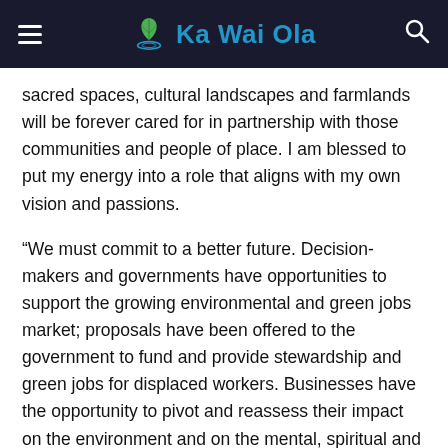Ka Wai Ola
sacred spaces, cultural landscapes and farmlands will be forever cared for in partnership with those communities and people of place. I am blessed to put my energy into a role that aligns with my own vision and passions.
“We must commit to a better future. Decision-makers and governments have opportunities to support the growing environmental and green jobs market; proposals have been offered to the government to fund and provide stewardship and green jobs for displaced workers. Businesses have the opportunity to pivot and reassess their impact on the environment and on the mental, spiritual and physical health of the community. Individuals have an opportunity to slow down, recognize what matters most, and reconnect with the environment.”